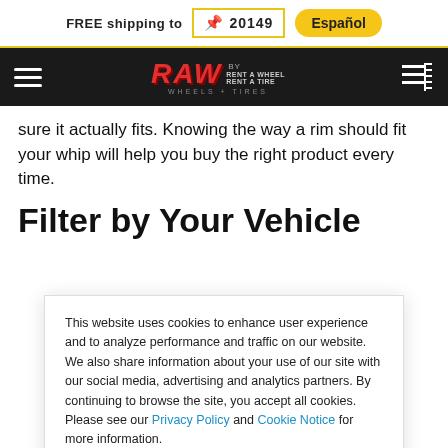FREE shipping to 20149  Español
[Figure (logo): RAW Wheels + Tires logo by Rent-A-Wheel Rent-A-Tire, with hamburger menu and cart icon on dark navigation bar]
sure it actually fits. Knowing the way a rim should fit your whip will help you buy the right product every time.
Filter by Your Vehicle
This website uses cookies to enhance user experience and to analyze performance and traffic on our website. We also share information about your use of our site with our social media, advertising and analytics partners. By continuing to browse the site, you accept all cookies. Please see our Privacy Policy and Cookie Notice for more information.
Accept